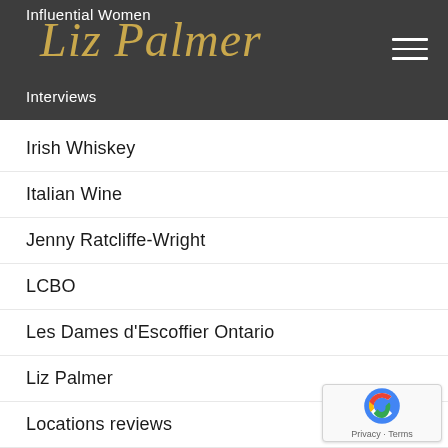Influential Women
Interviews
Liz Palmer
Irish Whiskey
Italian Wine
Jenny Ratcliffe-Wright
LCBO
Les Dames d'Escoffier Ontario
Liz Palmer
Locations reviews
New Zealand Wine
News
NFTs